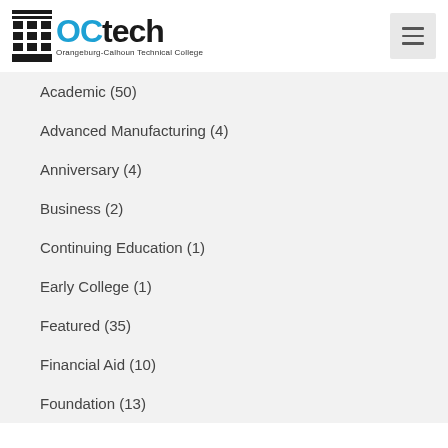[Figure (logo): OCtech Orangeburg-Calhoun Technical College logo with building icon and hamburger menu button]
Academic (50)
Advanced Manufacturing (4)
Anniversary (4)
Business (2)
Continuing Education (1)
Early College (1)
Featured (35)
Financial Aid (10)
Foundation (13)